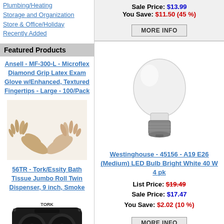Plumbing/Heating
Storage and Organization
Store & Office/Holiday
Recently Added
Featured Products
Ansell - MF-300-L - Microflex Diamond Grip Latex Exam Glove w/Enhanced, Textured Fingertips - Large - 100/Pack
[Figure (photo): Hands wearing latex exam gloves]
56TR - Tork/Essity Bath Tissue Jumbo Roll Twin Dispenser, 9 inch, Smoke
[Figure (photo): Black Tork twin jumbo roll toilet paper dispenser]
Sale Price: $13.99
You Save: $11.50 (45 %)
[Figure (photo): LED light bulb, A19 shape with E26 medium base, frosted white]
Westinghouse - 45156 - A19 E26 (Medium) LED Bulb Bright White 40 W 4 pk
List Price: $19.49
Sale Price: $17.47
You Save: $2.02 (10 %)
[Figure (photo): Pendant light fixture with gold/brass finish hanging from ceiling]